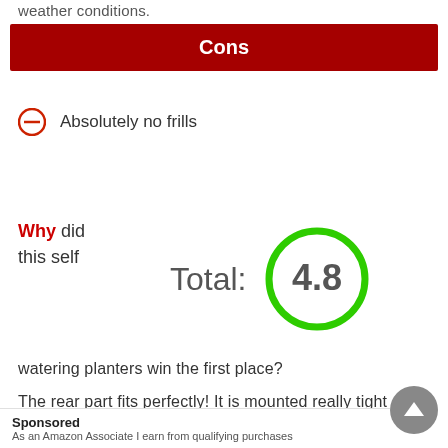weather conditions.
Cons
Absolutely no frills
Why did this self
Total: 4.8
watering planters win the first place?
The rear part fits perfectly! It is mounted really tight
. Its material
Sponsored
As an Amazon Associate I earn from qualifying purchases